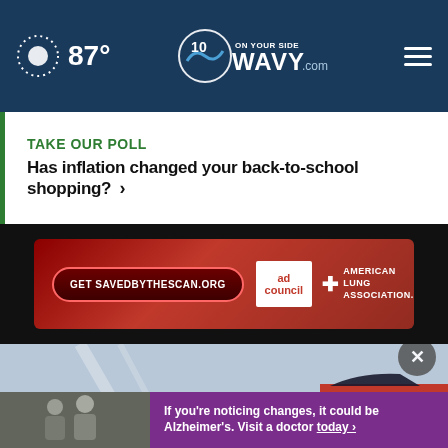87° WAVY.com On Your Side
TAKE OUR POLL
Has inflation changed your back-to-school shopping? >
[Figure (photo): Advertisement banner: red gradient background with 'Get SAVEDBYTHESCAN.ORG' button, Ad Council logo, and American Lung Association logo]
[Figure (photo): Car photo area showing red vehicle, with overlaid advertisement: two people and purple banner saying 'If you're noticing changes, it could be Alzheimer's. Visit a doctor']
If you're noticing changes, it could be Alzheimer's. Visit a doctor